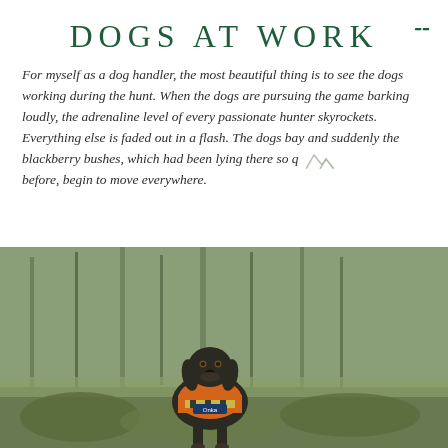DOGS AT WORK
For myself as a dog handler, the most beautiful thing is to see the dogs working during the hunt. When the dogs are pursuing the game barking loudly, the adrenaline level of every passionate hunter skyrockets. Everything else is faded out in a flash. The dogs bay and suddenly the blackberry bushes, which had been lying there so q before, begin to move everywhere.
[Figure (photo): A hunting dog wearing an orange vest with the name 'Onka', sitting in a forest/field setting with tall grasses and trees in the background. UI overlay shows Hunting and Birding category buttons on the right side.]